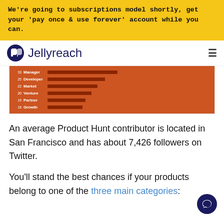We're going to subscriptions model shortly, get your 'pay once & use forever' account while you can.
[Figure (logo): Jellyreach logo with hamburger menu icon]
[Figure (screenshot): Orange horizontal bar chart showing ranked categories: Manager, Developer, Market, Venture, Partner, Growth with their respective bar lengths]
An average Product Hunt contributor is located in San Francisco and has about 7,426 followers on Twitter.
You'll stand the best chances if your products belong to one of the three main categories: